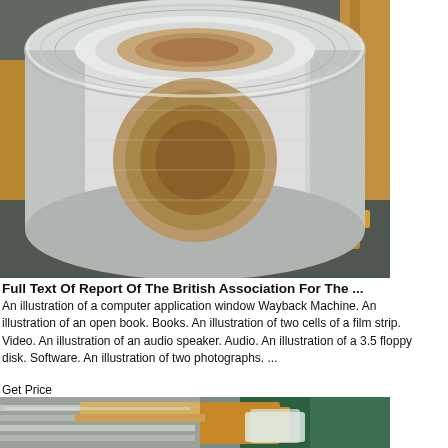[Figure (photo): A large roll of aluminum or metallic strip coil sitting on wooden pallets in an industrial warehouse. The roll is viewed from the front showing the hollow cardboard core. The exterior is shiny silver/white.]
Full Text Of Report Of The British Association For The ...
An illustration of a computer application window Wayback Machine. An illustration of an open book. Books. An illustration of two cells of a film strip. Video. An illustration of an audio speaker. Audio. An illustration of a 3.5 floppy disk. Software. An illustration of two photographs. ...
Get Price
[Figure (photo): Close-up of rolls of metallic coil/strip material partially wrapped in yellow and green packaging material, with visible ribbed metallic surface.]